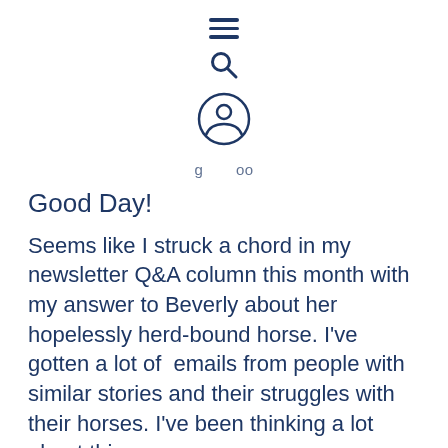[Figure (other): Navigation icons: hamburger menu, search magnifying glass, and user/account circle icon]
Good Day!
Seems like I struck a chord in my newsletter Q&A column this month with my answer to Beverly about her hopelessly herd-bound horse. I've gotten a lot of  emails from people with similar stories and their struggles with their horses. I've been thinking a lot about this